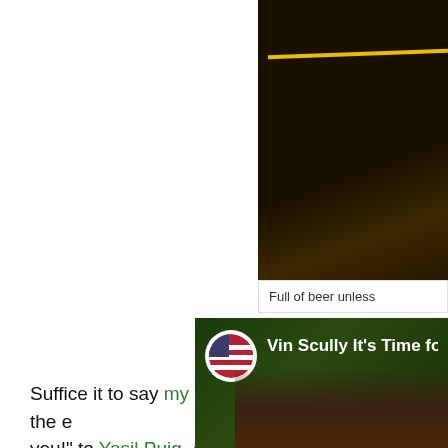[Figure (photo): Dark photograph with a yellow diagonal line, likely a baseball field or stadium at night, cropped at top-right corner of page]
Full of beer unless
Suffice it to say my team did not fare well and by the e you!" to Yasil Puig. At least I think that's what I was sa But for now, Game 7 is coming up in less than five min
[Figure (screenshot): Video thumbnail showing a green background with a person, with a circular American flag avatar icon and the title text 'Vin Scully It's Time for Do']